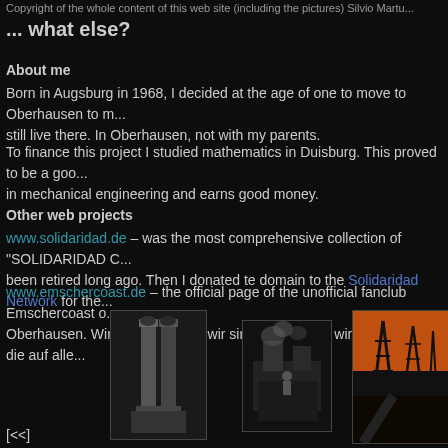Copyright of the whole content of this web site (including the pictures) Silvio Martu...
... what else?
About me
Born in Augsburg in 1968, I decided at the age of one to move to Oberhausen to m... still live there. In Oberhausen, not with my parents.
To finance this project I studied mathematics in Duisburg. This proved to be a goo... in mechanical engineering and earns good money.
Other web projects
www.solidaridad.de – was the most comprehensive collection of "SOLIDARIDAD C... been retired long ago. Then I donated te domain to the Solidaridad Network for the...
www.emschercoast.de – the official page of the unofficial fanclub Emschercoast o... Oberhausen. Wir sind die roten, wir sind die weißen, wir sind die Fans, die auf alle...
[Figure (photo): Black and white photo, industrial/mechanical subject, tall cylindrical forms]
[Figure (photo): Black and white photo, industrial scene with smoke or steam]
[Figure (photo): Photo of electricity pylons at sunset/dusk with orange sky]